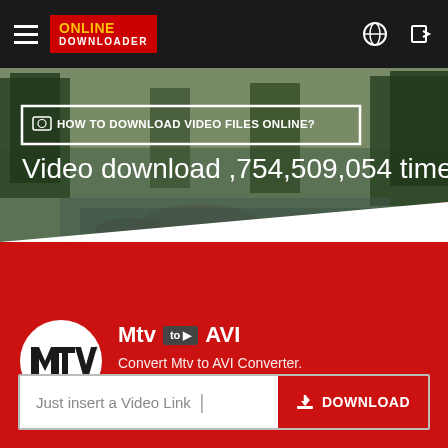[Figure (screenshot): Navigation bar with hamburger menu, Online Downloader logo, globe icon and login icon on dark background]
[Figure (photo): Hero banner with forest/lake landscape background in green and teal tones]
HOW TO DOWNLOAD VIDEO FILES ONLINE?
Video download ,754,509,054 times
[Figure (logo): MTV Music Television circular logo in black and white]
Mtv to AVI
Convert Mtv to AVI Converter.
★ ★ ★ ★ ★
Just insert a Video Link  |
DOWNLOAD